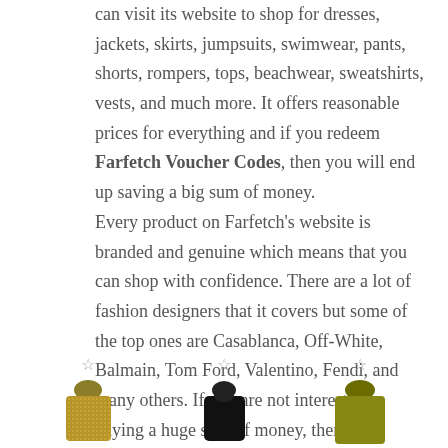can visit its website to shop for dresses, jackets, skirts, jumpsuits, swimwear, pants, shorts, rompers, tops, beachwear, sweatshirts, vests, and much more. It offers reasonable prices for everything and if you redeem Farfetch Voucher Codes, then you will end up saving a big sum of money.
Every product on Farfetch's website is branded and genuine which means that you can shop with confidence. There are a lot of fashion designers that it covers but some of the top ones are Casablanca, Off-White, Balmain, Tom Ford, Valentino, Fendi, and many others. If you are not interested in paying a huge sum of money, then use Farfetch Promo Code Bahrain and avail cool discounts.
[Figure (photo): Three clothing items (two gold/sequined tops and one black top) displayed at the bottom of the page, each with a star icon above them]